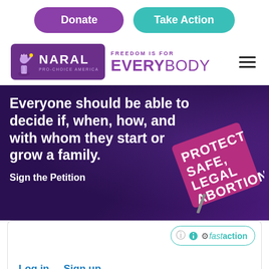[Figure (screenshot): NARAL Pro-Choice America website screenshot showing Donate and Take Action buttons, NARAL logo with Freedom Is For Everybody tagline, hero section with white text over dark purple background featuring a protest sign reading PROTECT SAFE, LEGAL ABORTION, and a fastaction form widget with Log in and Sign up links.]
Donate
Take Action
[Figure (logo): NARAL Pro-Choice America logo with Statue of Liberty icon on purple background, alongside FREEDOM IS FOR EVERYBODY tagline in purple text]
Everyone should be able to decide if, when, how, and with whom they start or grow a family.
Sign the Petition
[Figure (other): fastaction widget badge with question mark and gear icon]
Log in    Sign up